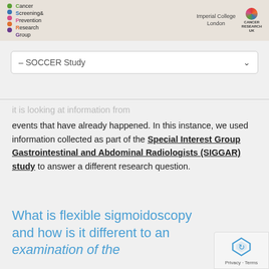[Figure (logo): Cancer Screening & Prevention Research Group banner with Imperial College London and Cancer Research UK logos]
– SOCCER Study
it is looking at information from events that have already happened. In this instance, we used information collected as part of the Special Interest Group Gastrointestinal and Abdominal Radiologists (SIGGAR) study to answer a different research question.
What is flexible sigmoidoscopy and how is it different to an examination of the